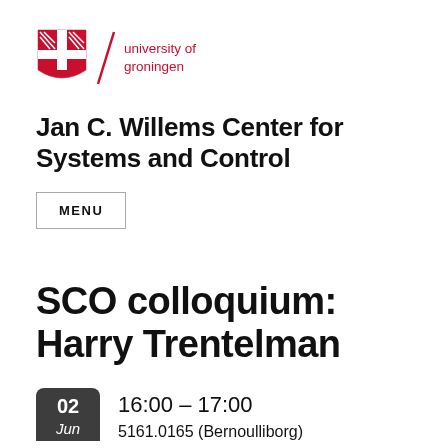[Figure (logo): University of Groningen logo with shield emblem, diagonal slash, and red text reading 'university of groningen']
Jan C. Willems Center for Systems and Control
MENU
SCO colloquium: Harry Trentelman
02
Jun
16:00 - 17:00
5161.0165 (Bernoulliborg)